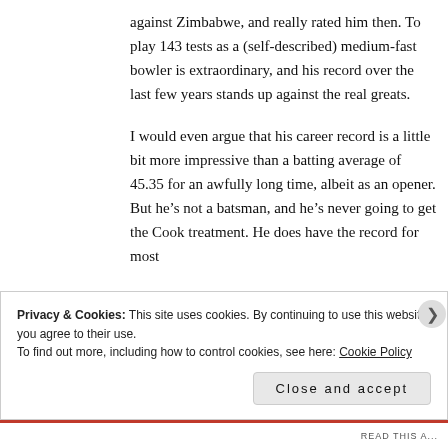against Zimbabwe, and really rated him then. To play 143 tests as a (self-described) medium-fast bowler is extraordinary, and his record over the last few years stands up against the real greats.
I would even argue that his career record is a little bit more impressive than a batting average of 45.35 for an awfully long time, albeit as an opener. But he’s not a batsman, and he’s never going to get the Cook treatment. He does have the record for most
Privacy & Cookies: This site uses cookies. By continuing to use this website, you agree to their use.
To find out more, including how to control cookies, see here: Cookie Policy
Close and accept